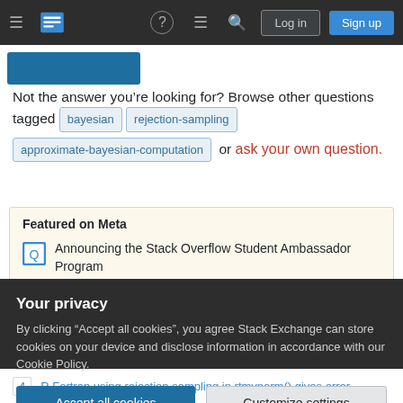Stack Exchange navigation bar with hamburger menu, logo, help, chat, search icons, Log in and Sign up buttons
Not the answer you're looking for? Browse other questions tagged bayesian rejection-sampling approximate-bayesian-computation or ask your own question.
Featured on Meta
Announcing the Stack Overflow Student Ambassador Program
Google Analytics 4 (GA4) upgrade
Your privacy
By clicking "Accept all cookies", you agree Stack Exchange can store cookies on your device and disclose information in accordance with our Cookie Policy.
Accept all cookies | Customize settings
4  R Fortran using rejection sampling in rtmvnorm() gives error